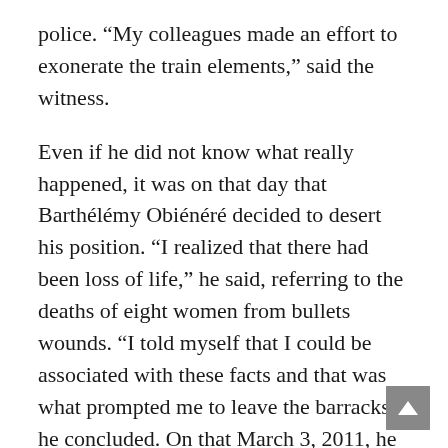police. “My colleagues made an effort to exonerate the train elements,” said the witness.
Even if he did not know what really happened, it was on that day that Barthélémy Obiénéré decided to desert his position. “I realized that there had been loss of life,” he said, referring to the deaths of eight women from bullets wounds. “I told myself that I could be associated with these facts and that was what prompted me to leave the barracks,” he concluded. On that March 3, 2011, he therefore went to the French armed forces barracks before joining the Golf Hotel the next morning.